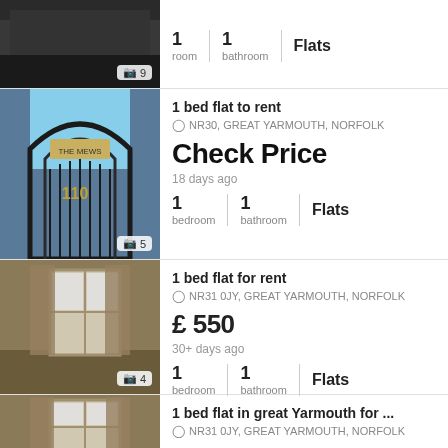[Figure (photo): Dark room/ceiling photo with camera count badge showing 9]
1  1  Flats
room  bathroom
[Figure (photo): Iron gate entrance with 'The Mews' sign, camera count badge showing 5]
1 bed flat to rent
NR30, GREAT YARMOUTH, NORFOLK
Check Price
18 days ago
1  1  Flats
bedroom  bathroom
[Figure (photo): Room with window, curtains, olive/tan walls, camera count badge showing 4]
1 bed flat for rent
NR31 0JY, GREAT YARMOUTH, NORFOLK
£ 550
30+ days ago
1  1  Flats
bedroom  bathroom
[Figure (photo): Room with window and curtains, similar to previous listing]
1 bed flat in great Yarmouth for ...
NR31 0JY, GREAT YARMOUTH, NORFOLK
£ 550